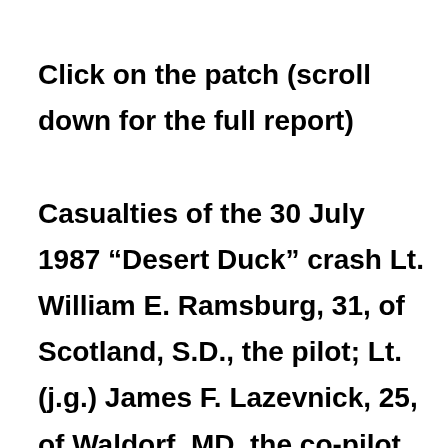Click on the patch (scroll down for the full report) Casualties of the 30 July 1987 “Desert Duck” crash Lt. William E. Ramsburg, 31, of Scotland, S.D., the pilot; Lt. (j.g.) James F. Lazevnick, 25, of Waldorf, MD. the co-pilot, Radioman 2nd Class Albert B. Duparl of Saint Croix, U.S. Virgin Islands,